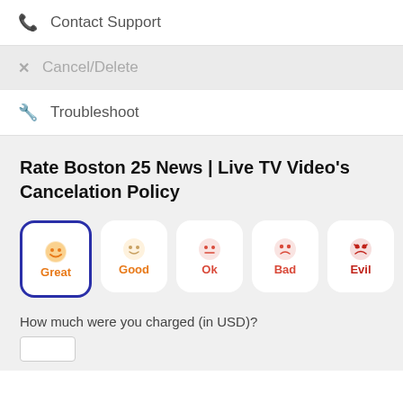📞 Contact Support
✕ Cancel/Delete
🔧 Troubleshoot
Rate Boston 25 News | Live TV Video's Cancelation Policy
[Figure (infographic): Five emoji rating buttons: Great (selected, orange smiley, blue border), Good (orange muted smiley), Ok (red-orange neutral), Bad (red frowning), Evil (dark red angry). Labels beneath each emoji.]
How much were you charged (in USD)?